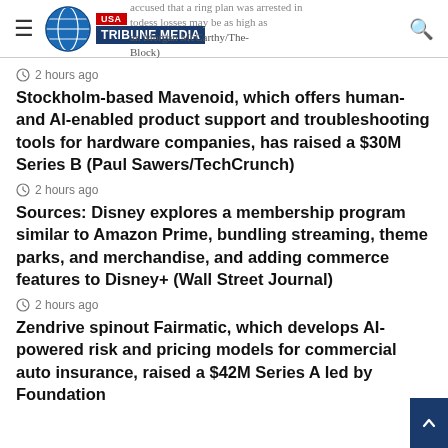USA Tribune Media
accused that a ring plan was arrested in todess losses may be as high as an Morgan McCarthy/The Block)
2 hours ago
Stockholm-based Mavenoid, which offers human- and AI-enabled product support and troubleshooting tools for hardware companies, has raised a $30M Series B (Paul Sawers/TechCrunch)
2 hours ago
Sources: Disney explores a membership program similar to Amazon Prime, bundling streaming, theme parks, and merchandise, and adding commerce features to Disney+ (Wall Street Journal)
2 hours ago
Zendrive spinout Fairmatic, which develops AI-powered risk and pricing models for commercial auto insurance, raised a $42M Series A led by Foundation